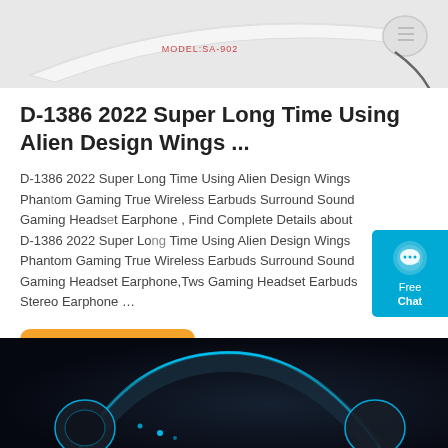[Figure (photo): White gaming headphone/headband with model number MODEL:SA-902 text, product photo on light grey background]
D-1386 2022 Super Long Time Using Alien Design Wings ...
D-1386 2022 Super Long Time Using Alien Design Wings Phantom Gaming True Wireless Earbuds Surround Sound Gaming Headset Earphone , Find Complete Details about D-1386 2022 Super Long Time Using Alien Design Wings Phantom Gaming True Wireless Earbuds Surround Sound Gaming Headset Earphone,Tws Gaming Headset Earbuds Stereo Earphone …
[Figure (other): Get Price orange button]
[Figure (photo): Gaming headset with blue LED lighting on dark background]